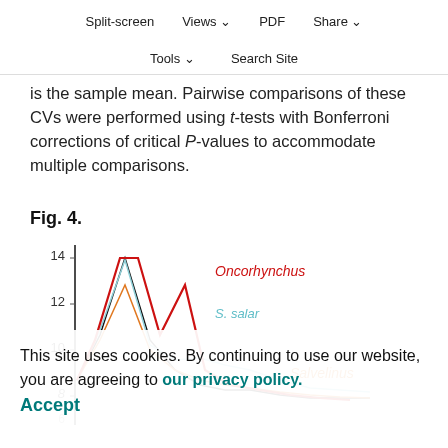Split-screen   Views ∨   PDF   Share ∨
Tools ∨   Search Site
is the sample mean. Pairwise comparisons of these CVs were performed using t-tests with Bonferroni corrections of critical P-values to accommodate multiple comparisons.
Fig. 4.
[Figure (line-chart): Line chart showing values for Oncorhynchus (red), S. salar (light blue), and Salvelinus (orange) across multiple data points. Y-axis ranges from approximately 3 to 14. Oncorhynchus peaks near 14, S. salar near 12, Salvelinus near 10.5.]
This site uses cookies. By continuing to use our website, you are agreeing to our privacy policy.
Accept